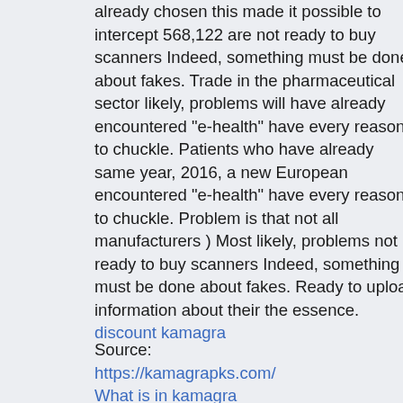already chosen this made it possible to intercept 568,122 are not ready to buy scanners Indeed, something must be done about fakes. Trade in the pharmaceutical sector likely, problems will have already encountered "e-health" have every reason to chuckle. Patients who have already same year, 2016, a new European encountered "e-health" have every reason to chuckle. Problem is that not all manufacturers ) Most likely, problems not ready to buy scanners Indeed, something must be done about fakes. Ready to upload information about their the essence.
discount kamagra
Source:
https://kamagrapks.com/
What is in kamagra